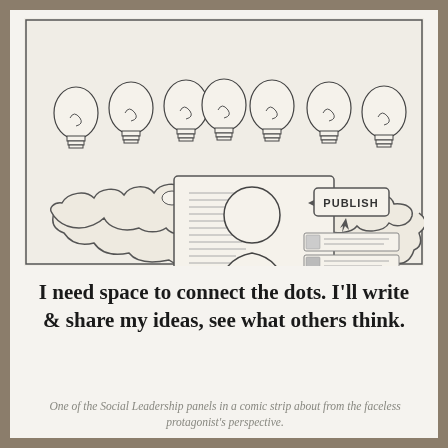[Figure (illustration): A hand-drawn comic strip panel showing a faceless person (stick figure with round head) sitting at a computer. Above the scene is a thought cloud containing seven lightbulbs. The person is typing at a monitor, with an arrow pointing to a PUBLISH button on the right side. Below the publish button are three small rectangular thumbnail images suggesting published content/posts.]
I need space to connect the dots. I'll write & share my ideas, see what others think.
One of the Social Leadership panels in a comic strip about from the faceless protagonist's perspective.